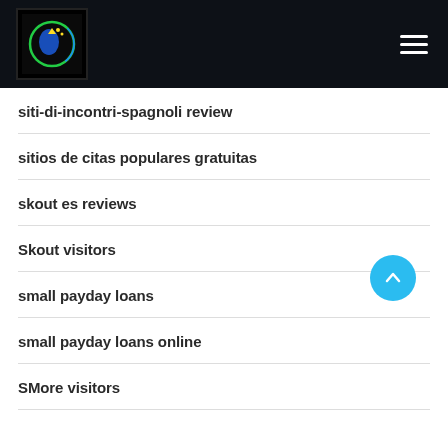Navigation header with logo and hamburger menu
siti-di-incontri-spagnoli review
sitios de citas populares gratuitas
skout es reviews
Skout visitors
small payday loans
small payday loans online
SMore visitors